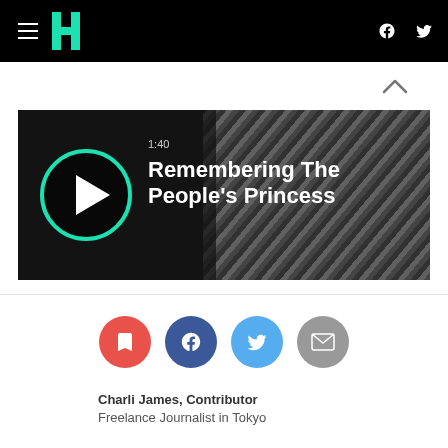HuffPost navigation bar with hamburger menu, logo, Facebook and Twitter icons
[Figure (screenshot): Video thumbnail showing play button circle with teal ring on dark background, timestamp 1:40, title 'Remembering The People's Princess' in white bold text, striped dark background on right side]
[Figure (infographic): Social share buttons row: bookmark/save (red), Facebook (dark blue), Twitter (light blue), email (gray)]
Charli James, Contributor
Freelance Journalist in Tokyo